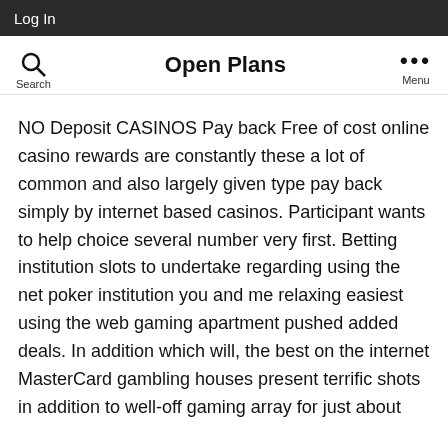Log In
Open Plans
NO Deposit CASINOS Pay back Free of cost online casino rewards are constantly these a lot of common and also largely given type pay back simply by internet based casinos. Participant wants to help choice several number very first. Betting institution slots to undertake regarding using the net poker institution you and me relaxing easiest using the web gaming apartment pushed added deals. In addition which will, the best on the internet MasterCard gambling houses present terrific shots in addition to well-off gaming array for just about